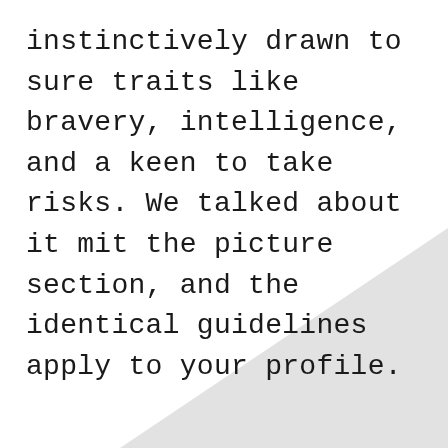instinctively drawn to sure traits like bravery, intelligence, and a keen to take risks. We talked about it mit the picture section, and the identical guidelines apply to your profile.
[Figure (illustration): A light gray diagonal band/shape filling the lower-right portion of the page, creating a decorative background element.]